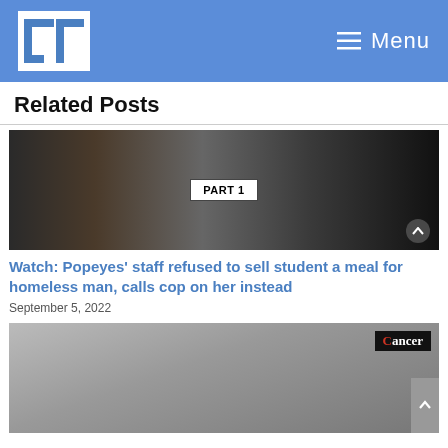LT  Menu
Related Posts
[Figure (screenshot): Video thumbnail showing people at a counter with 'PART 1' label overlay]
Watch: Popeyes’ staff refused to sell student a meal for homeless man, calls cop on her instead
September 5, 2022
[Figure (photo): Man lying in hospital bed with medical equipment; 'Cancer' text visible on a screen in background]